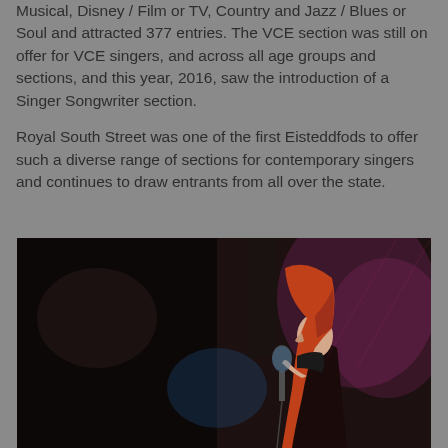Musical, Disney / Film or TV, Country and Jazz / Blues or Soul and attracted 377 entries. The VCE section was still on offer for VCE singers, and across all age groups and sections, and this year, 2016, saw the introduction of a Singer Songwriter section.

Royal South Street was one of the first Eisteddfods to offer such a diverse range of sections for contemporary singers and continues to draw entrants from all over the state.
[Figure (photo): A young woman with long red/auburn hair singing into a microphone on a dark stage, photographed in profile from the right side. She appears to be performing at a competition or concert event.]